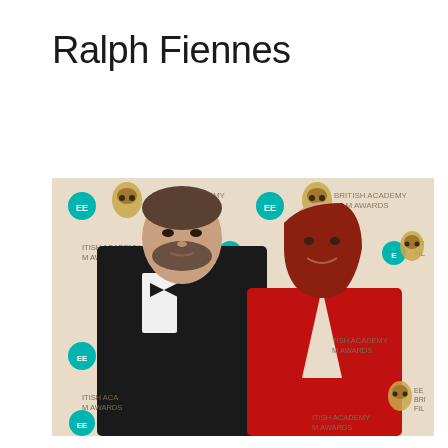Ralph Fiennes
[Figure (photo): Ralph Fiennes in a black tuxedo with bow tie standing next to a woman in a red dress with plunging neckline, both posing in front of a BAFTA EE British Academy Film Awards step-and-repeat backdrop. The man has his arm around the woman.]